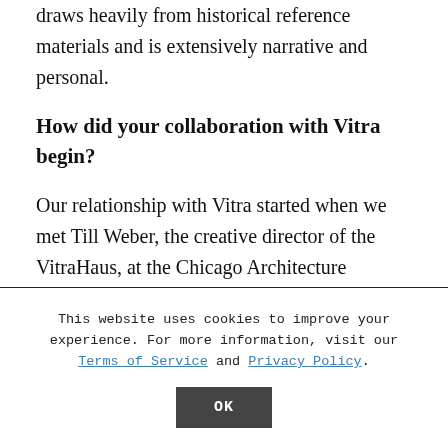draws heavily from historical reference materials and is extensively narrative and personal.
How did your collaboration with Vitra begin?
Our relationship with Vitra started when we met Till Weber, the creative director of the VitraHaus, at the Chicago Architecture
This website uses cookies to improve your experience. For more information, visit our Terms of Service and Privacy Policy.
OK